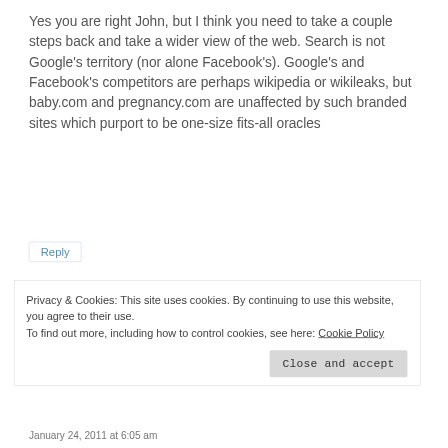Yes you are right John, but I think you need to take a couple steps back and take a wider view of the web. Search is not Google's territory (nor alone Facebook's). Google's and Facebook's competitors are perhaps wikipedia or wikileaks, but baby.com and pregnancy.com are unaffected by such branded sites which purport to be one-size fits-all oracles
Reply
Privacy & Cookies: This site uses cookies. By continuing to use this website, you agree to their use.
To find out more, including how to control cookies, see here: Cookie Policy
Close and accept
January 24, 2011 at 6:05 am